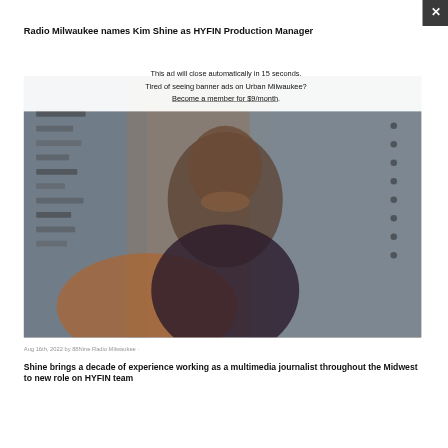Radio Milwaukee names Kim Shine as HYFIN Production Manager
[Figure (photo): Portrait photo of Kim Shine smiling, with colorful abstract background]
Aug 16th, 2022 by 88Nine Radio Milwaukee ·
Shine brings a decade of experience working as a multimedia journalist throughout the Midwest to new role on HYFIN team
This ad will close automatically in 15 seconds. Tired of seeing banner ads on Urban Milwaukee? Become a member for $9/month.